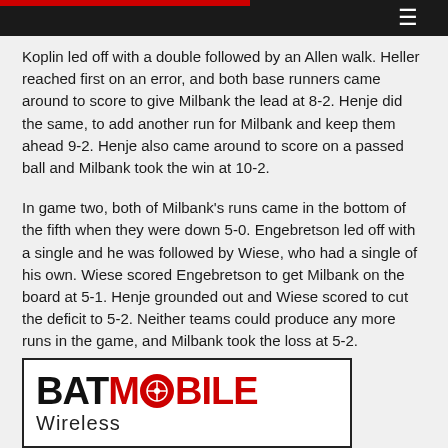Koplin led off with a double followed by an Allen walk. Heller reached first on an error, and both base runners came around to score to give Milbank the lead at 8-2. Henje did the same, to add another run for Milbank and keep them ahead 9-2. Henje also came around to score on a passed ball and Milbank took the win at 10-2.
In game two, both of Milbank's runs came in the bottom of the fifth when they were down 5-0. Engebretson led off with a single and he was followed by Wiese, who had a single of his own. Wiese scored Engebretson to get Milbank on the board at 5-1. Henje grounded out and Wiese scored to cut the deficit to 5-2. Neither teams could produce any more runs in the game, and Milbank took the loss at 5-2.
[Figure (logo): BATMOBILE Wireless advertisement logo with red and black text]